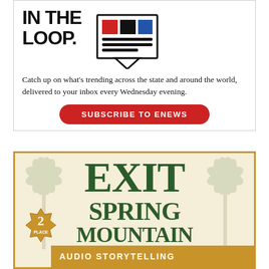[Figure (infographic): Newsletter subscription advertisement: 'STAY IN THE LOOP.' with a newspaper icon graphic, body text about trending news delivered every Wednesday evening, and a red 'SUBSCRIBE TO ENEWS' button.]
[Figure (infographic): Book/podcast advertisement: 'EXIT SPRING MOUNTAIN' in large dark green serif type on a beige background with faint palm trees, a gold badge with '2 PLACE', and a gold bar at bottom reading 'AUDIO STORYTELLING'.]